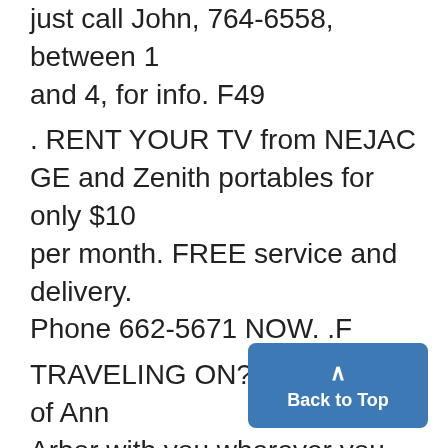just call John, 764-0558, between 1 and 4, for info. F49
. RENT YOUR TV from NEJAC GE and Zenith portables for only $10 per month. FREE service and delivery. Phone 662-5671 NOW. .F
TRAVELING ON? Take a part of Ann Arbor with you wherever you go! Subscribe to The Michigan Daily. Now! So you won't miss a copy. Summer '65: $4.50, Fall-Winter: $9.50. Price includes mailing charges. Send your name, address and check Circulation Dept., Daily, 420 Ma
OPEN RUSh for fall '65 to Ann Arbor...